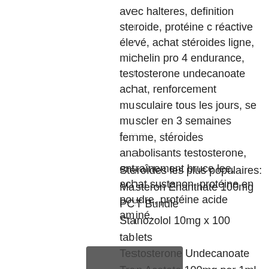avec halteres, definition steroide, protéine c réactive élevé, achat stéroides ligne, michelin pro 4 endurance, testosterone undecanoate achat, renforcement musculaire tous les jours, se muscler en 3 semaines femme, stéroides anabolisants testosterone, entraînement bruce lee, achat sustanon, protéine en poudre, protéine acide aminé.
Stéroïdes les plus populaires:
Masteron Enanthate 100mg
PCT Bundle
Stanozolol 10mg x 100 tablets
Testosterone Undecanoate
Tren Acetate 100mg per 1ml
Testosterone cypionate 250mg/ml x 10 ml
Anavar 10 mg (50 tabs)
Oxymetholone
Test Enanthate 250
Alpha-Pharma